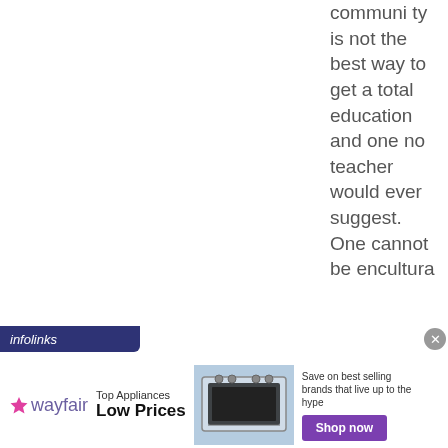community is not the best way to get a total education and one no teacher would ever suggest. One cannot be encultura
[Figure (screenshot): Infolinks advertisement banner for Wayfair featuring text 'Top Appliances Low Prices', an image of a stove/range appliance, and a 'Shop now' button with text 'Save on best selling brands that live up to the hype']